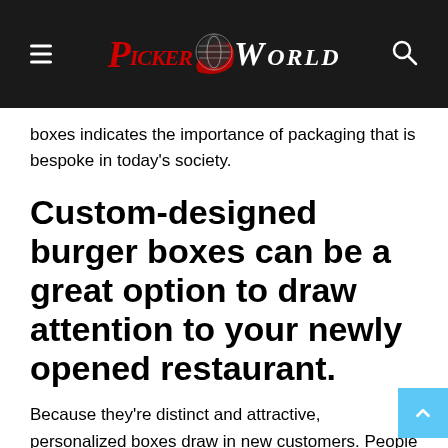Picker World
boxes indicates the importance of packaging that is bespoke in today's society.
Custom-designed burger boxes can be a great option to draw attention to your newly opened restaurant.
Because they're distinct and attractive, personalized boxes draw in new customers. People will be intrigued by what you have to offer. If your packaging does not look similar to those sold in other stores, That's why many startups succeed in their first few months of operation.